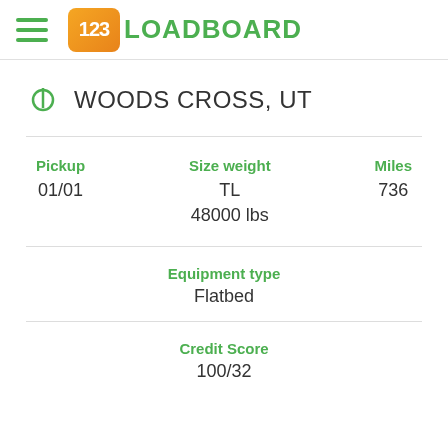123LOADBOARD
WOODS CROSS, UT
| Pickup | Size weight | Miles |
| --- | --- | --- |
| 01/01 | TL
48000 lbs | 736 |
Equipment type
Flatbed
Credit Score
100/32